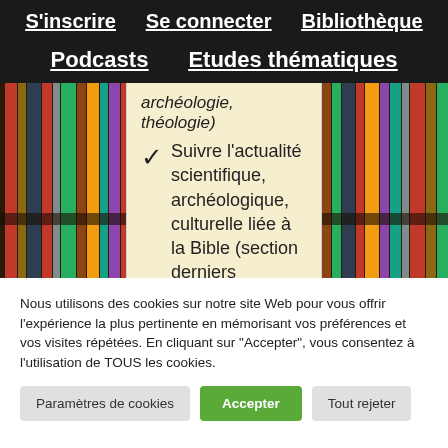S'inscrire   Se connecter   Bibliothèque
Podcasts   Etudes thématiques
archéologie, théologie)
Suivre l'actualité scientifique, archéologique, culturelle liée à la Bible (section derniers
Nous utilisons des cookies sur notre site Web pour vous offrir l'expérience la plus pertinente en mémorisant vos préférences et vos visites répétées. En cliquant sur "Accepter", vous consentez à l'utilisation de TOUS les cookies.
Paramètres de cookies   Accepter   Tout rejeter